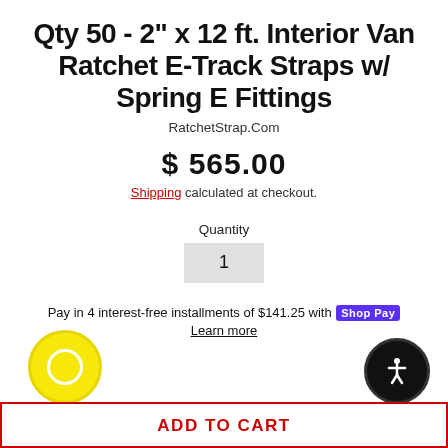Qty 50 - 2" x 12 ft. Interior Van Ratchet E-Track Straps w/ Spring E Fittings
RatchetStrap.Com
$ 565.00
Shipping calculated at checkout.
Quantity
1
Pay in 4 interest-free installments of $141.25 with Shop Pay
Learn more
ADD TO CART